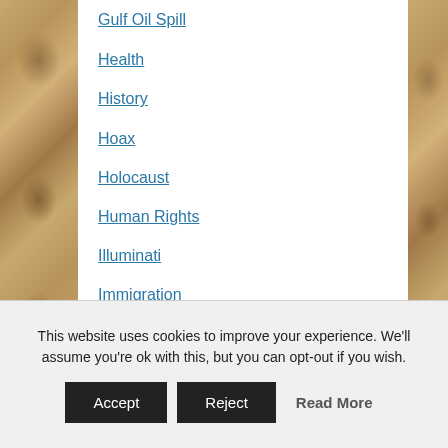Gulf Oil Spill
Health
History
Hoax
Holocaust
Human Rights
Illuminati
Immigration
Imperialism
Intel Leak
International Relations
Internet
This website uses cookies to improve your experience. We'll assume you're ok with this, but you can opt-out if you wish.